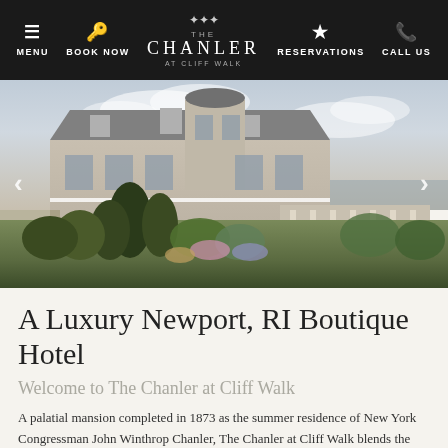MENU | BOOK NOW | THE CHANLER AT CLIFF WALK | RESERVATIONS | CALL US
[Figure (photo): Exterior photo of The Chanler at Cliff Walk, a grand historic mansion with mansard roof, white columns, and lush gardens in the foreground, photographed from an elevated angle showing the Newport, RI coastline in the background]
A Luxury Newport, RI Boutique Hotel
Welcome to The Chanler at Cliff Walk
A palatial mansion completed in 1873 as the summer residence of New York Congressman John Winthrop Chanler, The Chanler at Cliff Walk blends the opulence of Newport's storied Gilded Age